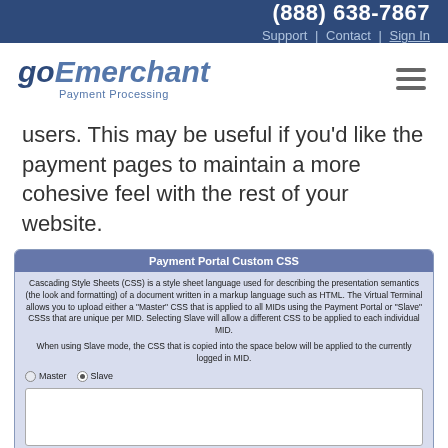(888) 638-7867 | Support | Contact | Sign In
[Figure (logo): goEmerchant Payment Processing logo with hamburger menu icon]
users. This may be useful if you'd like the payment pages to maintain a more cohesive feel with the rest of your website.
Payment Portal Custom CSS
Cascading Style Sheets (CSS) is a style sheet language used for describing the presentation semantics (the look and formatting) of a document written in a markup language such as HTML. The Virtual Terminal allows you to upload either a "Master" CSS that is applied to all MIDs using the Payment Portal or "Slave" CSSs that are unique per MID. Selecting Slave will allow a different CSS to be applied to each individual MID.

When using Slave mode, the CSS that is copied into the space below will be applied to the currently logged in MID.
Master  Slave